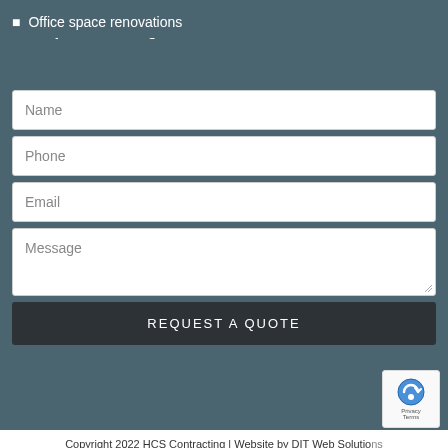Office space renovations
Request a Quote
[Figure (screenshot): Web form with fields: Name, Phone, Email, Message, and a REQUEST A QUOTE submit button on a dark teal background]
Copyright 2022 HCS Contracting | Website by DIT Web Solutions